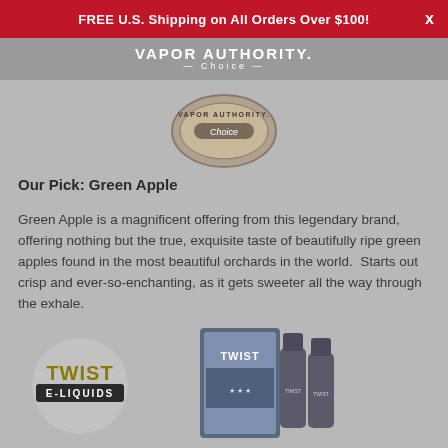FREE U.S. Shipping on All Orders Over $100!
[Figure (logo): Vapor Authority Choice badge/seal logo]
Our Pick: Green Apple
Green Apple is a magnificent offering from this legendary brand, offering nothing but the true, exquisite taste of beautifully ripe green apples found in the most beautiful orchards in the world.  Starts out crisp and ever-so-enchanting, as it gets sweeter all the way through the exhale.
[Figure (logo): Twist E-Liquids brand logo]
[Figure (photo): Twist E-Liquids product packaging bottles]